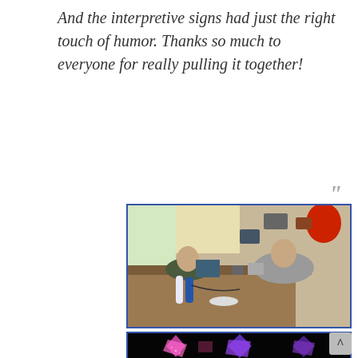And the interpretive signs had just the right touch of humor. Thanks so much to everyone for really pulling it together!
[Figure (photo): Two people sitting at a long wooden workbench or counter, working on laptops and electronic equipment. Various water bottles, tools, and items are scattered on the table. A red balloon is visible in the upper right. The setting appears to be a rustic indoor space.]
[Figure (photo): Dark image showing colorful illuminated geometric star/polygon shapes in pink, purple, and blue against a black background.]